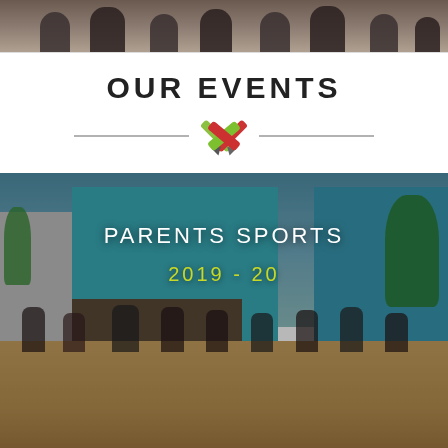[Figure (photo): Top portion of a group photo, partially cropped]
OUR EVENTS
[Figure (illustration): Decorative crossed pencils / markers icon between two horizontal lines]
[Figure (photo): Outdoor scene with women playing sports on a sandy ground, colorful school buildings in background. Text overlay: PARENTS SPORTS 2019 - 20]